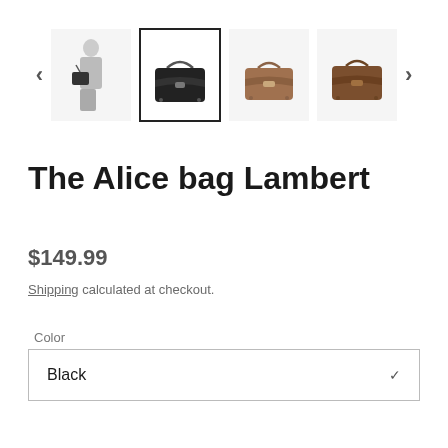[Figure (screenshot): Product image carousel showing 4 thumbnail images of handbags: a model wearing a black bag, a black structured handbag (selected/active), a brown handbag, and a darker brown handbag. Left and right navigation arrows are visible.]
The Alice bag Lambert
$149.99
Shipping calculated at checkout.
Color
Black